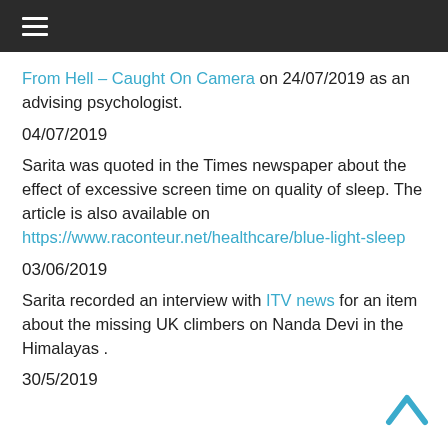≡ (hamburger menu icon)
From Hell – Caught On Camera on 24/07/2019 as an advising psychologist.
04/07/2019
Sarita was quoted in the Times newspaper about the effect of excessive screen time on quality of sleep. The article is also available on https://www.raconteur.net/healthcare/blue-light-sleep
03/06/2019
Sarita recorded an interview with ITV news for an item about the missing UK climbers on Nanda Devi in the Himalayas .
30/5/2019